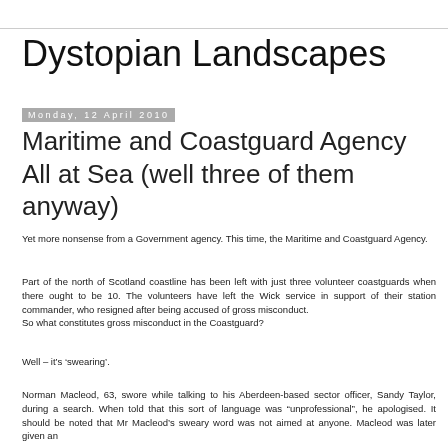Dystopian Landscapes
Monday, 12 April 2010
Maritime and Coastguard Agency All at Sea (well three of them anyway)
Yet more nonsense from a Government agency. This time, the Maritime and Coastguard Agency.
Part of the north of Scotland coastline has been left with just three volunteer coastguards when there ought to be 10. The volunteers have left the Wick service in support of their station commander, who resigned after being accused of gross misconduct.
So what constitutes gross misconduct in the Coastguard?
Well – it’s ‘swearing’.
Norman Macleod, 63, swore while talking to his Aberdeen-based sector officer, Sandy Taylor, during a search. When told that this sort of language was “unprofessional”, he apologised. It should be noted that Mr Macleod’s sweary word was not aimed at anyone. Macleod was later given an